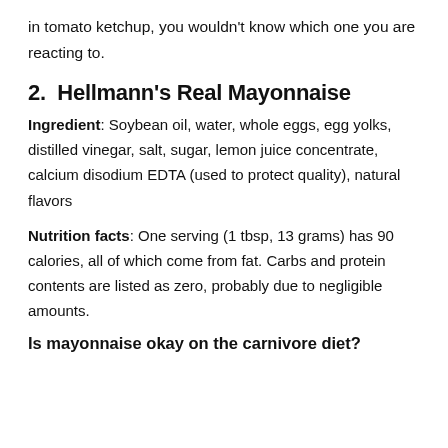in tomato ketchup, you wouldn't know which one you are reacting to.
2.  Hellmann's Real Mayonnaise
Ingredient: Soybean oil, water, whole eggs, egg yolks, distilled vinegar, salt, sugar, lemon juice concentrate, calcium disodium EDTA (used to protect quality), natural flavors
Nutrition facts: One serving (1 tbsp, 13 grams) has 90 calories, all of which come from fat. Carbs and protein contents are listed as zero, probably due to negligible amounts.
Is mayonnaise okay on the carnivore diet?